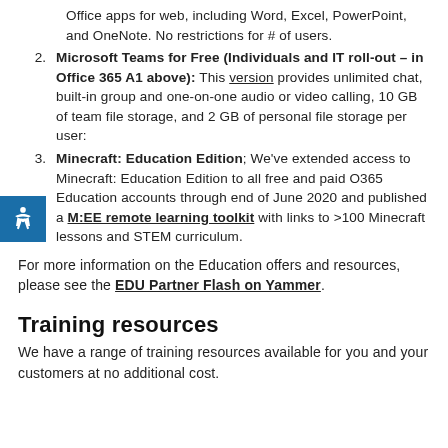Office apps for web, including Word, Excel, PowerPoint, and OneNote. No restrictions for # of users.
Microsoft Teams for Free (Individuals and IT roll-out – in Office 365 A1 above): This version provides unlimited chat, built-in group and one-on-one audio or video calling, 10 GB of team file storage, and 2 GB of personal file storage per user:
Minecraft: Education Edition; We've extended access to Minecraft: Education Edition to all free and paid O365 Education accounts through end of June 2020 and published a M:EE remote learning toolkit with links to >100 Minecraft lessons and STEM curriculum.
For more information on the Education offers and resources, please see the EDU Partner Flash on Yammer.
Training resources
We have a range of training resources available for you and your customers at no additional cost.